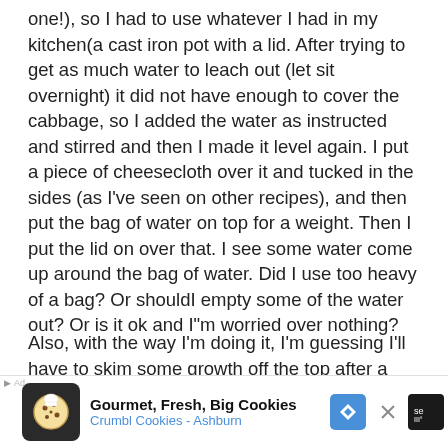one!), so I had to use whatever I had in my kitchen(a cast iron pot with a lid. After trying to get as much water to leach out (let sit overnight) it did not have enough to cover the cabbage, so I added the water as instructed and stirred and then I made it level again. I put a piece of cheesecloth over it and tucked in the sides (as I've seen on other recipes), and then put the bag of water on top for a weight. Then I put the lid on over that. I see some water come up around the bag of water. Did I use too heavy of a bag? Or shouldI empty some of the water out? Or is it ok and I"m worried over nothing?
Also, with the way I'm doing it, I'm guessing I'll have to skim some growth off the top after a few weeks.
Reply ↓
fermenTed on August 9, 2020 at 3:15 pm said:
[Figure (screenshot): Advertisement banner for Crumbl Cookies - Ashburn showing cookie icon, text 'Gourmet, Fresh, Big Cookies' and 'Crumbl Cookies - Ashburn', blue diamond navigation icon, and close button]